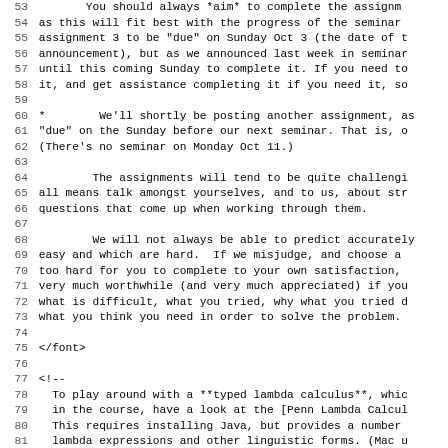Lines 53-85 of a source code/document file showing seminar assignment instructions and HTML comment with typed lambda calculus reference.